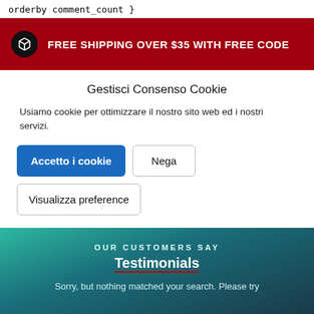orderby   comment_count }
FREE SHIPPING OVER $35 WITH FREE CODE
Gestisci Consenso Cookie
Usiamo cookie per ottimizzare il nostro sito web ed i nostri servizi.
Accetto i cookie
Nega
Visualizza preference
OUR CUSTOMERS SAY
Testimonials
Sorry, but nothing matched your search. Please try